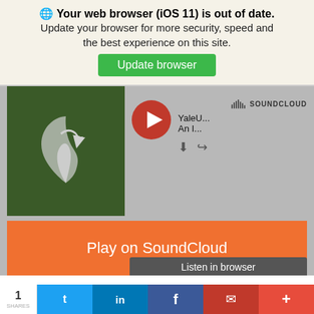🌐 Your web browser (iOS 11) is out of date.
Update your browser for more security, speed and the best experience on this site.
Update browser
[Figure (screenshot): SoundCloud embedded player showing a YaleUniversity podcast. Dark green album art with a leaf logo on left, red play button, SoundCloud branding top right. Orange 'Play on SoundCloud' banner and dark 'Listen in browser' button overlay. Track list rows: YaleUniversity - An Interview with Patrick Holmes (▶ 511), YaleUniversity - An Interview with David Meyers (▶ 587), YaleUniversity - An Interview with Bethany Olmstead (▶ 359). SoundCloud waveform logo at bottom. YaleUniversity profile thumbnail below.]
1 SHARES  [Twitter] [LinkedIn] [Facebook] [Email] [+]